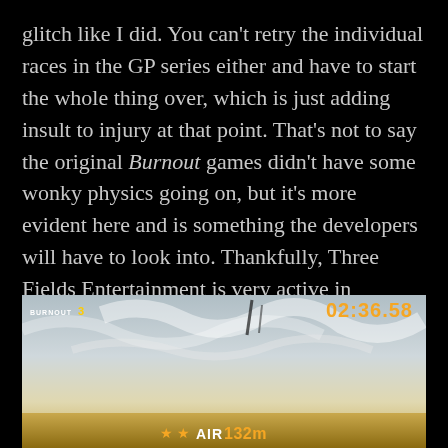glitch like I did. You can't retry the individual races in the GP series either and have to start the whole thing over, which is just adding insult to injury at that point. That's not to say the original Burnout games didn't have some wonky physics going on, but it's more evident here and is something the developers will have to look into. Thankfully, Three Fields Entertainment is very active in responding to player feedback, and this issue is supposed to be addressed in the June 7 update.
[Figure (screenshot): In-game screenshot showing a racing game (Burnout-style) with sky background, game logo 'BURNOUT 3' in top left, timer '02:36.58' in top right in orange, and bottom HUD showing two stars and 'AIR 132m' in orange text.]